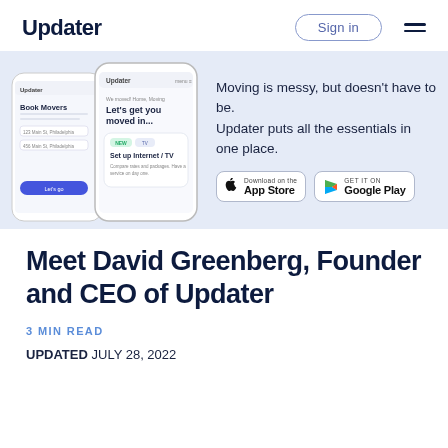Updater | Sign in
[Figure (screenshot): Updater app banner showing two smartphone mockups with the Updater app interface (Book Movers screen and Let's get you moved in screen with Set up Internet/TV section) on a light blue background, with tagline text and App Store / Google Play download buttons]
Meet David Greenberg, Founder and CEO of Updater
3 MIN READ
UPDATED JULY 28, 2022